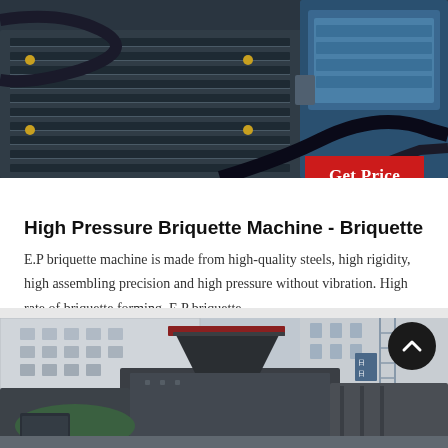[Figure (photo): Close-up photo of an industrial electric motor with black ribbed casing and blue component, with hydraulic hoses/cables visible]
Get Price
High Pressure Briquette Machine - Briquette
E.P briquette machine is made from high-quality steels, high rigidity, high assembling precision and high pressure without vibration. High rate of briquette forming. E.P briquette...
[Figure (photo): Outdoor photo of a large industrial high pressure briquette machine with hopper on top, situated in an industrial yard with buildings in the background]